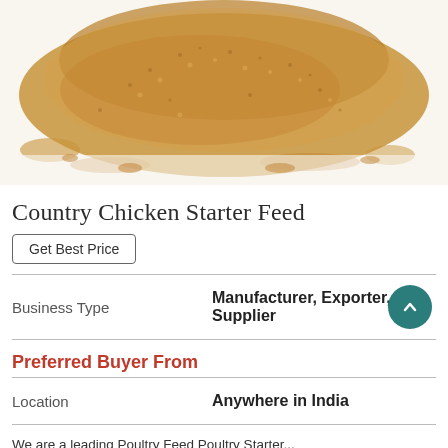[Figure (photo): Close-up photo of chicken starter feed — fine golden-brown granular powder/crumble scattered on a white background.]
Country Chicken Starter Feed
Get Best Price
| Business Type | Manufacturer, Exporter, Supplier |
| --- | --- |
Preferred Buyer From
| Location | Anywhere in India |
| --- | --- |
We are a leading Poultry Feed Poultry Starter...